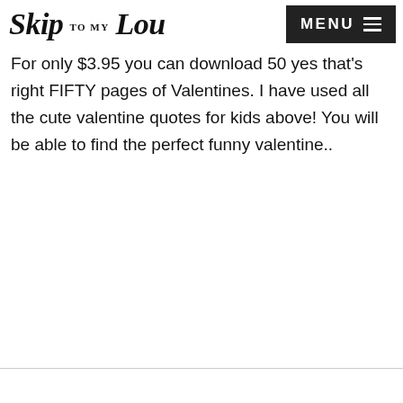Skip to my Lou  MENU
For only $3.95 you can download 50 yes that's right FIFTY pages of Valentines. I have used all the cute valentine quotes for kids above! You will be able to find the perfect funny valentine..